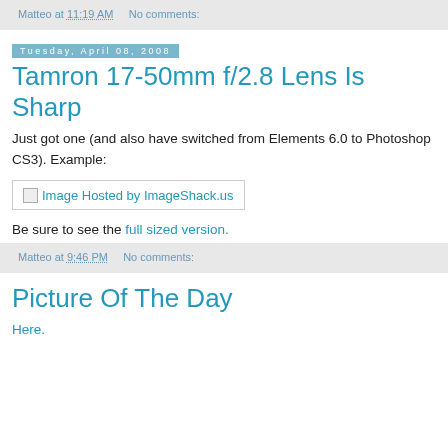Matteo at 11:19 AM    No comments:
Tuesday, April 08, 2008
Tamron 17-50mm f/2.8 Lens Is Sharp
Just got one (and also have switched from Elements 6.0 to Photoshop CS3). Example:
[Figure (photo): Image Hosted by ImageShack.us (broken image link)]
Be sure to see the full sized version.
Matteo at 9:46 PM    No comments:
Picture Of The Day
Here.